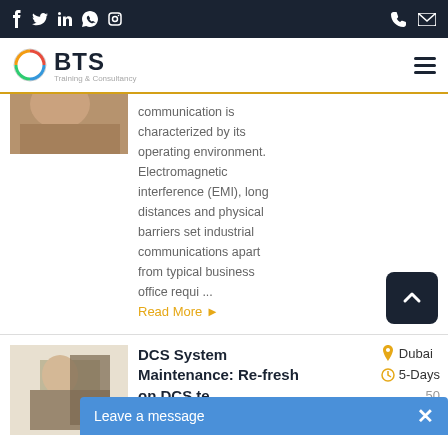BTS Training & Consultancy — navigation bar with social icons and logo
communication is characterized by its operating environment. Electromagnetic interference (EMI), long distances and physical barriers set industrial communications apart from typical business office requi ...
Read More ▶
DCS System Maintenance: Re-fresh on DCS te...
Dubai
5-Days
Leave a message